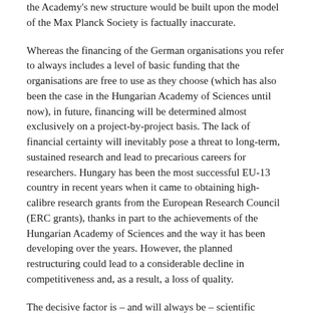the Academy's new structure would be built upon the model of the Max Planck Society is factually inaccurate.
Whereas the financing of the German organisations you refer to always includes a level of basic funding that the organisations are free to use as they choose (which has also been the case in the Hungarian Academy of Sciences until now), in future, financing will be determined almost exclusively on a project-by-project basis. The lack of financial certainty will inevitably pose a threat to long-term, sustained research and lead to precarious careers for researchers. Hungary has been the most successful EU-13 country in recent years when it came to obtaining high-calibre research grants from the European Research Council (ERC grants), thanks in part to the achievements of the Hungarian Academy of Sciences and the way it has been developing over the years. However, the planned restructuring could lead to a considerable decline in competitiveness and, as a result, a loss of quality.
The decisive factor is – and will always be – scientific freedom guaranteed through legislation and resources. This freedom, Prime Minister, includes the government's duty to enable and